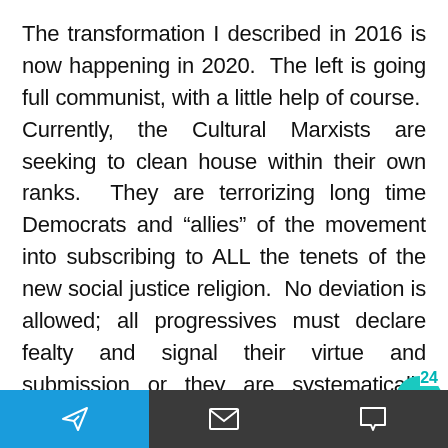The transformation I described in 2016 is now happening in 2020.  The left is going full communist, with a little help of course.  Currently, the Cultural Marxists are seeking to clean house within their own ranks.  They are terrorizing long time Democrats and “allies” of the movement into subscribing to ALL the tenets of the new social justice religion.  No deviation is allowed; all progressives must declare fealty and signal their virtue and submission or they are systematically targeted and destroyed.  It is essentially coercion by cancel culture.
Navigation bar with send, email, and comment icons